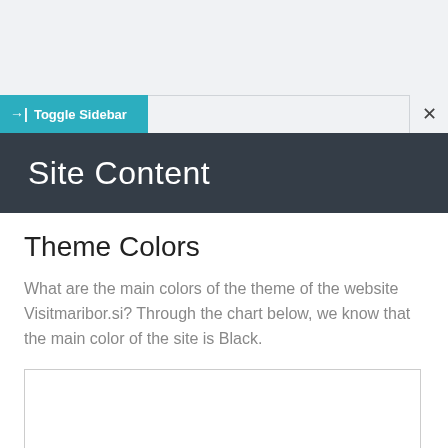→| Toggle Sidebar
Site Content
Theme Colors
What are the main colors of the theme of the website Visitmaribor.si? Through the chart below, we know that the main color of the site is Black.
[Figure (other): Empty chart box placeholder]